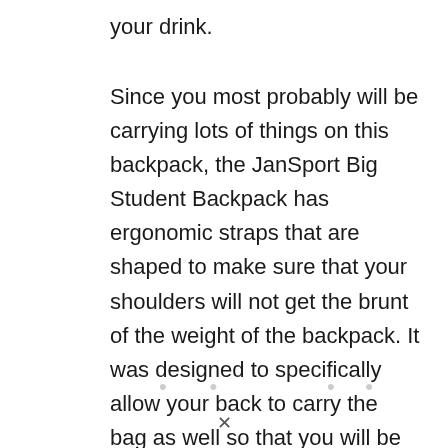your drink.
Since you most probably will be carrying lots of things on this backpack, the JanSport Big Student Backpack has ergonomic straps that are shaped to make sure that your shoulders will not get the brunt of the weight of the backpack. It was designed to specifically allow your back to carry the bag as well so that you will be able to relieve the pressure off of your shoulders.